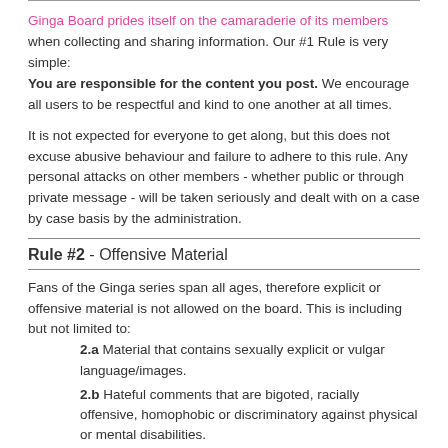Ginga Board prides itself on the camaraderie of its members when collecting and sharing information. Our #1 Rule is very simple: You are responsible for the content you post. We encourage all users to be respectful and kind to one another at all times.
It is not expected for everyone to get along, but this does not excuse abusive behaviour and failure to adhere to this rule. Any personal attacks on other members - whether public or through private message - will be taken seriously and dealt with on a case by case basis by the administration.
Rule #2 - Offensive Material
Fans of the Ginga series span all ages, therefore explicit or offensive material is not allowed on the board. This is including but not limited to:
2.a Material that contains sexually explicit or vulgar language/images.
2.b Hateful comments that are bigoted, racially offensive, homophobic or discriminatory against physical or mental disabilities.
2.c Threatening and offensive material promoting religious or...